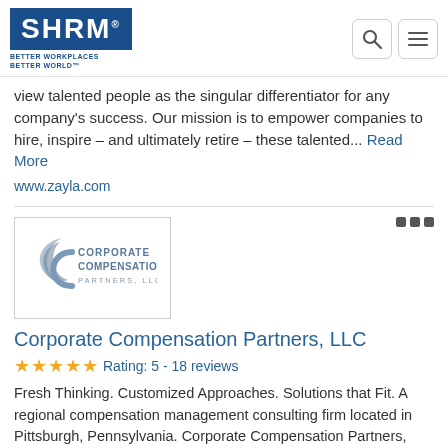SHRM - BETTER WORKPLACES BETTER WORLD
view talented people as the singular differentiator for any company's success. Our mission is to empower companies to hire, inspire – and ultimately retire – these talented... Read More
www.zayla.com
[Figure (logo): Corporate Compensation Partners, LLC logo with stylized C graphic]
Corporate Compensation Partners, LLC
Rating: 5 - 18 reviews
Fresh Thinking. Customized Approaches. Solutions that Fit. A regional compensation management consulting firm located in Pittsburgh, Pennsylvania. Corporate Compensation Partners, LLC provides compensation strategy, design, and implementation services to our clients. Our consultants